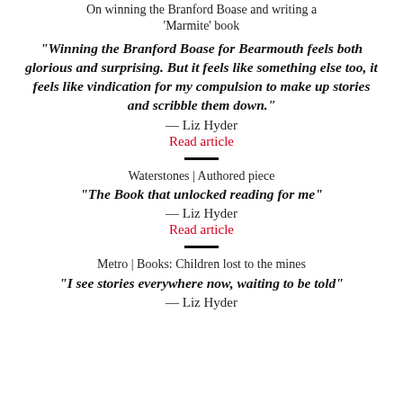On winning the Branford Boase and writing a 'Marmite' book
“Winning the Branford Boase for Bearmouth feels both glorious and surprising. But it feels like something else too, it feels like vindication for my compulsion to make up stories and scribble them down.”
— Liz Hyder
Read article
Waterstones | Authored piece
“The Book that unlocked reading for me”
— Liz Hyder
Read article
Metro | Books: Children lost to the mines
“I see stories everywhere now, waiting to be told”
— Liz Hyder